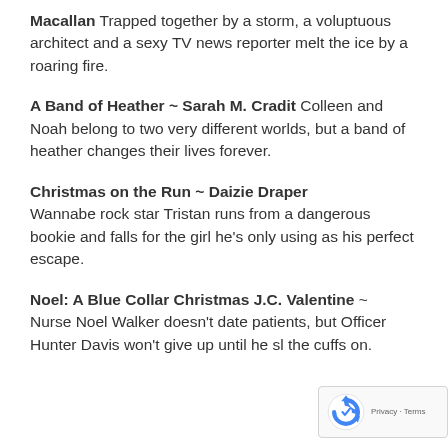Macallan Trapped together by a storm, a voluptuous architect and a sexy TV news reporter melt the ice by a roaring fire.
A Band of Heather ~ Sarah M. Cradit Colleen and Noah belong to two very different worlds, but a band of heather changes their lives forever.
Christmas on the Run ~ Daizie Draper Wannabe rock star Tristan runs from a dangerous bookie and falls for the girl he's only using as his perfect escape.
Noel: A Blue Collar Christmas J.C. Valentine ~ Nurse Noel Walker doesn't date patients, but Officer Hunter Davis won't give up until he sl the cuffs on.